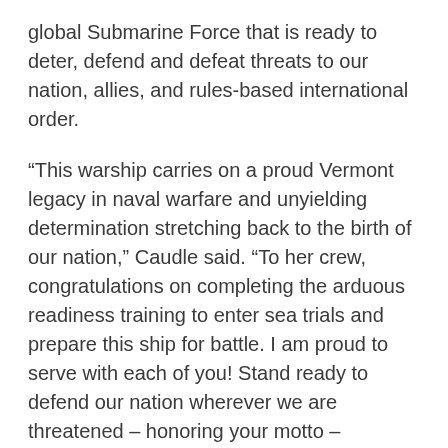global Submarine Force that is ready to deter, defend and defeat threats to our nation, allies, and rules-based international order.
“This warship carries on a proud Vermont legacy in naval warfare and unyielding determination stretching back to the birth of our nation,” Caudle said. “To her crew, congratulations on completing the arduous readiness training to enter sea trials and prepare this ship for battle. I am proud to serve with each of you! Stand ready to defend our nation wherever we are threatened – honoring your motto – FREEDOM AND UNITY. May God bless our Submarine Force, the people of Vermont, and our families! From the depths, we strike!”